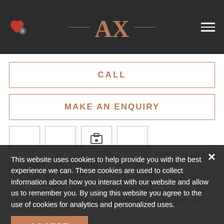[Figure (logo): AX Capital logo with rose gold lettering and horizontal lines, on dark background header with heart icon and hamburger menu]
CALL
MAKE AN ENQUIRY
[Figure (other): Row of four social/action icon boxes]
Property Description
Ax Capital offers you the chance to live in a quality home in the modern community set within Sadaf Tower which is located in Jumeriah Beach Residence, Dubai's one of the most sought-after addresses.
This website uses cookies to help provide you with the best experience we can. These cookies are used to collect information about how you interact with our website and allow us to remember you. By using this website you agree to the use of cookies for analytics and personalized uses.
ACCEPT